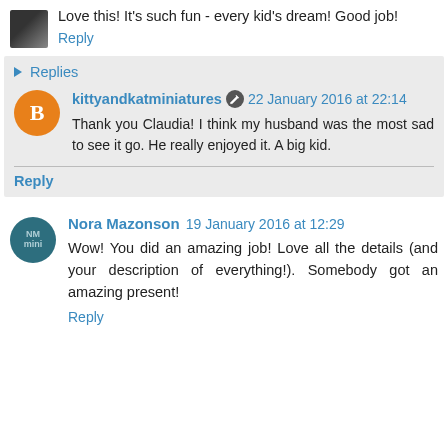Love this! It's such fun - every kid's dream! Good job!
Reply
Replies
kittyandkatminiatures 22 January 2016 at 22:14
Thank you Claudia! I think my husband was the most sad to see it go. He really enjoyed it. A big kid.
Reply
Nora Mazonson 19 January 2016 at 12:29
Wow! You did an amazing job! Love all the details (and your description of everything!). Somebody got an amazing present!
Reply